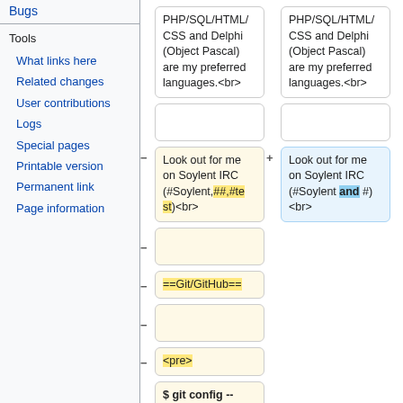Bugs
Tools
What links here
Related changes
User contributions
Logs
Special pages
Printable version
Permanent link
Page information
| PHP/SQL/HTML/ CSS and Delphi (Object Pascal) are my preferred languages.<br> | PHP/SQL/HTML/ CSS and Delphi (Object Pascal) are my preferred languages.<br> |
| (empty) | (empty) |
| Look out for me on Soylent IRC (#Soylent,##,#te st)<br> | Look out for me on Soylent IRC (#Soylent and #) <br> |
| (empty) |  |
| ==Git/GitHub== |  |
| (empty) |  |
| <pre> |  |
| $ git config -- global user.name |  |